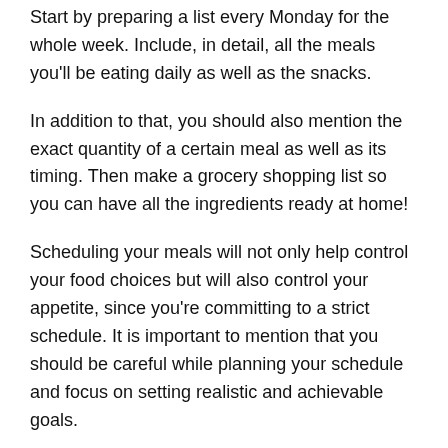Start by preparing a list every Monday for the whole week. Include, in detail, all the meals you'll be eating daily as well as the snacks.
In addition to that, you should also mention the exact quantity of a certain meal as well as its timing. Then make a grocery shopping list so you can have all the ingredients ready at home!
Scheduling your meals will not only help control your food choices but will also control your appetite, since you're committing to a strict schedule. It is important to mention that you should be careful while planning your schedule and focus on setting realistic and achievable goals.
In case you need any extra help, please consult with a